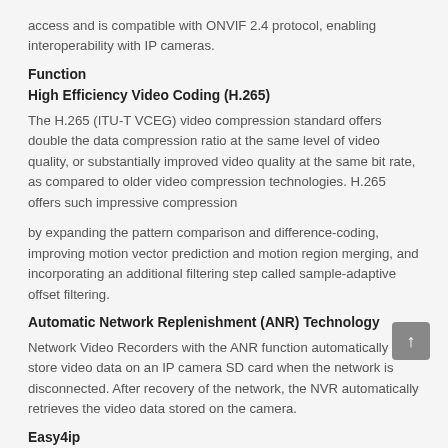access and is compatible with ONVIF 2.4 protocol, enabling interoperability with IP cameras.
Function
High Efficiency Video Coding (H.265)
The H.265 (ITU-T VCEG) video compression standard offers double the data compression ratio at the same level of video quality, or substantially improved video quality at the same bit rate, as compared to older video compression technologies. H.265 offers such impressive compression
by expanding the pattern comparison and difference-coding, improving motion vector prediction and motion region merging, and incorporating an additional filtering step called sample-adaptive offset filtering.
Automatic Network Replenishment (ANR) Technology
Network Video Recorders with the ANR function automatically store video data on an IP camera SD card when the network is disconnected. After recovery of the network, the NVR automatically retrieves the video data stored on the camera.
Easy4ip